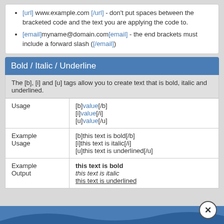[url] www.example.com [/url] - don't put spaces between the bracketed code and the text you are applying the code to.
[email]myname@domain.com[email] - the end brackets must include a forward slash ([/email])
Bold / Italic / Underline
The [b], [i] and [u] tags allow you to create text that is bold, italic and underlined.
| Usage | [b]value[/b]
[i]value[/i]
[u]value[/u] |
| Example Usage | [b]this text is bold[/b]
[i]this text is italic[/i]
[u]this text is underlined[/u] |
| Example Output | this text is bold
this text is italic
this text is underlined |